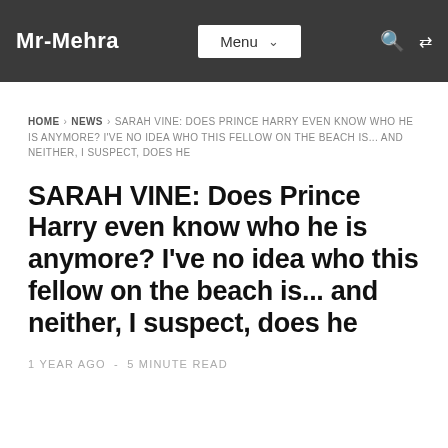Mr-Mehra | Menu
HOME › NEWS › SARAH VINE: DOES PRINCE HARRY EVEN KNOW WHO HE IS ANYMORE? I'VE NO IDEA WHO THIS FELLOW ON THE BEACH IS... AND NEITHER, I SUSPECT, DOES HE
SARAH VINE: Does Prince Harry even know who he is anymore? I've no idea who this fellow on the beach is... and neither, I suspect, does he
1 YEAR AGO  -  5 MINUTE READ